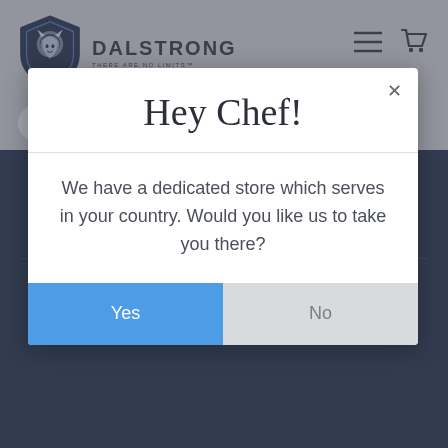[Figure (logo): Dalstrong brand logo with lion shield icon and text DALSTRONG THERE ARE NO LIMITS]
[Figure (screenshot): Navigation icons: hamburger menu and shopping cart]
Search
Warranty & Shipping Information
Privacy Policy
About Us
Hey Chef!
We have a dedicated store which serves in your country. Would you like us to take you there?
Yes
No